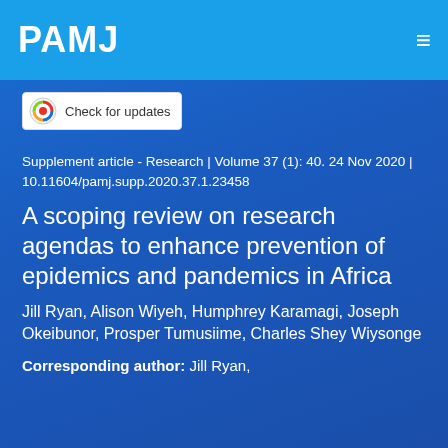PAMJ
[Figure (logo): Check for updates badge with Crossmark logo]
Supplement article - Research | Volume 37 (1): 40. 24 Nov 2020 | 10.11604/pamj.supp.2020.37.1.23458
A scoping review on research agendas to enhance prevention of epidemics and pandemics in Africa
Jill Ryan, Alison Wiyeh, Humphrey Karamagi, Joseph Okeibunor, Prosper Tumusiime, Charles Shey Wiysonge
Corresponding author: Jill Ryan,